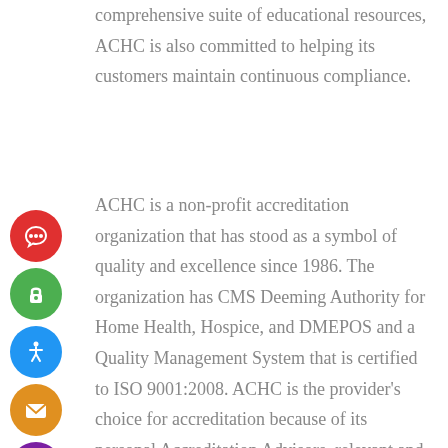comprehensive suite of educational resources, ACHC is also committed to helping its customers maintain continuous compliance.
ACHC is a non-profit accreditation organization that has stood as a symbol of quality and excellence since 1986. The organization has CMS Deeming Authority for Home Health, Hospice, and DMEPOS and a Quality Management System that is certified to ISO 9001:2008. ACHC is the provider's choice for accreditation because of its personal Accreditation Advisors, relevant and realistic standards, competitive pricing, and a friendly, consultative approach to accreditation. Accreditation by ACHC reflects an organization's dedication and commitment to meeting
[Figure (infographic): Column of 6 circular icon buttons on the left side: red chat bubble icon, green lock icon, blue accessibility icon, orange envelope icon, purple translation/text icon, dark red heart/hand icon]